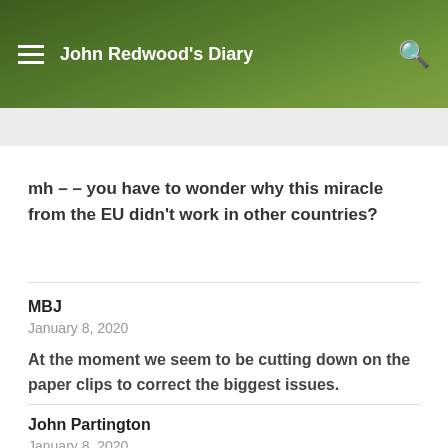John Redwood's Diary
mh – – you have to wonder why this miracle from the EU didn't work in other countries?
MBJ
January 8, 2020
At the moment we seem to be cutting down on the paper clips to correct the biggest issues.
John Partington
January 8, 2020